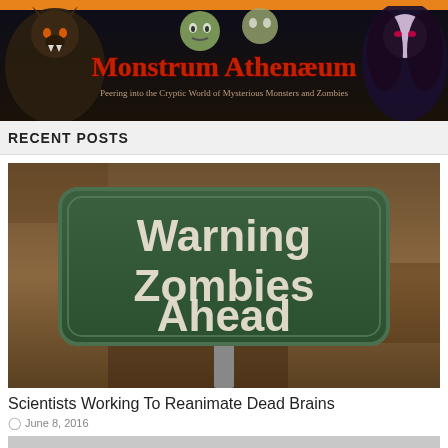[Figure (illustration): Monstrum Athenæum website banner with horror-themed characters (werewolf, zombies, vampires) and gothic title text. Subtitle reads: Peering into the Cryptic World of Mysterious Monsters and Zombies]
RECENT POSTS
[Figure (photo): A green road sign reading 'Warning Zombies Ahead' on a grunge brown background]
Scientists Working To Reanimate Dead Brains
June 8, 2016